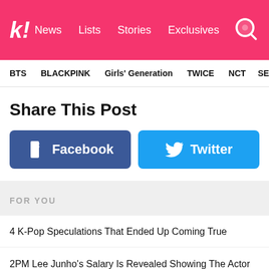k! News  Lists  Stories  Exclusives
BTS  BLACKPINK  Girls' Generation  TWICE  NCT  SEVE
Share This Post
[Figure (other): Facebook share button - blue rounded rectangle with Facebook logo and text 'Facebook']
[Figure (other): Twitter share button - light blue rounded rectangle with Twitter bird logo and text 'Twitter']
FOR YOU
4 K-Pop Speculations That Ended Up Coming True
2PM Lee Junho's Salary Is Revealed Showing The Actor Gets Paid This Much Per Episode